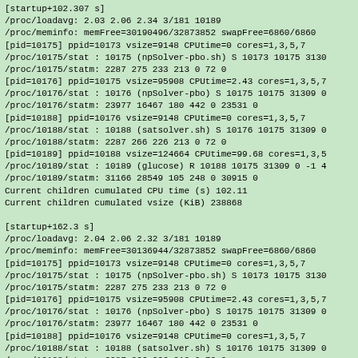[startup+102.307 s]
/proc/loadavg: 2.03 2.06 2.34 3/181 10189
/proc/meminfo: memFree=30190496/32873852 swapFree=6860/6860
[pid=10175] ppid=10173 vsize=9148 CPUtime=0 cores=1,3,5,7
/proc/10175/stat : 10175 (npSolver-pbo.sh) S 10173 10175 3130
/proc/10175/statm: 2287 275 233 213 0 72 0
[pid=10176] ppid=10175 vsize=95908 CPUtime=2.43 cores=1,3,5,7
/proc/10176/stat : 10176 (npSolver-pbo) S 10175 10175 31309 0
/proc/10176/statm: 23977 16467 180 442 0 23531 0
[pid=10188] ppid=10176 vsize=9148 CPUtime=0 cores=1,3,5,7
/proc/10188/stat : 10188 (satsolver.sh) S 10176 10175 31309 0
/proc/10188/statm: 2287 266 226 213 0 72 0
[pid=10189] ppid=10188 vsize=124664 CPUtime=99.68 cores=1,3,5
/proc/10189/stat : 10189 (glucose) R 10188 10175 31309 0 -1 4
/proc/10189/statm: 31166 28549 105 248 0 30915 0
Current children cumulated CPU time (s) 102.11
Current children cumulated vsize (KiB) 238868

[startup+162.3 s]
/proc/loadavg: 2.04 2.06 2.32 3/181 10189
/proc/meminfo: memFree=30136944/32873852 swapFree=6860/6860
[pid=10175] ppid=10173 vsize=9148 CPUtime=0 cores=1,3,5,7
/proc/10175/stat : 10175 (npSolver-pbo.sh) S 10173 10175 3130
/proc/10175/statm: 2287 275 233 213 0 72 0
[pid=10176] ppid=10175 vsize=95908 CPUtime=2.43 cores=1,3,5,7
/proc/10176/stat : 10176 (npSolver-pbo) S 10175 10175 31309 0
/proc/10176/statm: 23977 16467 180 442 0 23531 0
[pid=10188] ppid=10176 vsize=9148 CPUtime=0 cores=1,3,5,7
/proc/10188/stat : 10188 (satsolver.sh) S 10176 10175 31309 0
/proc/10188/statm: 2287 266 226 213 0 72 0
[pid=10189] ppid=10188 vsize=154868 CPUtime=159.67 cores=1,3
/proc/10189/stat : 10189 (glucose) R 10188 10175 31309 0 -1 4
/proc/10189/statm: 38717 35088 105 248 0 38183 0